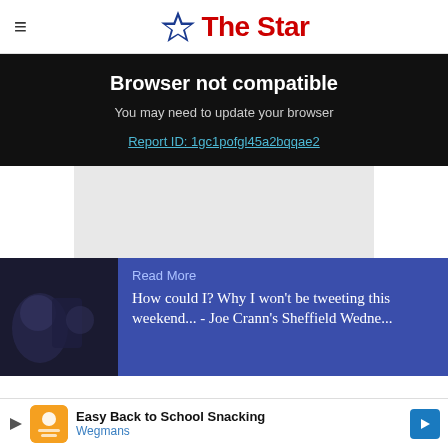The Star
Browser not compatible
You may need to update your browser
Report ID: 1gc1pofgl45a2bqqae2
[Figure (other): Gray advertisement placeholder box]
Read More
How could I? Why I won't be tweeting this weekend... - Joe Crann's Sheffield Wedne...
Easy Back to School Snacking Wegmans